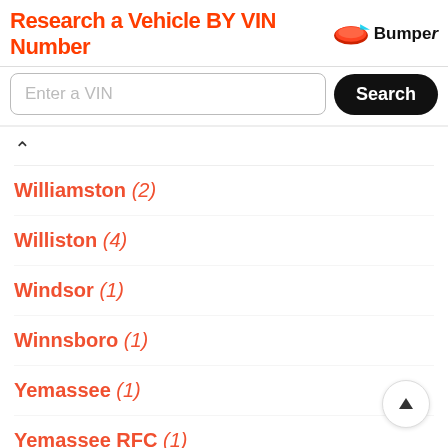[Figure (logo): Bumper.com ad banner: 'Research a Vehicle BY VIN Number' with Bumper logo]
[Figure (screenshot): Search bar with 'Enter a VIN' placeholder and black Search button]
Williamston (2)
Williston (4)
Windsor (1)
Winnsboro (1)
Yemassee (1)
Yemassee RFC (1)
York (2)